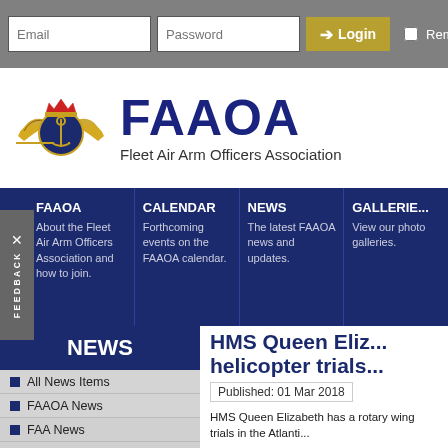Email | Password | Login | Remember Me
[Figure (logo): Fleet Air Arm Officers Association emblem with wings and crown, with FAAOA title and subtitle]
FAAOA | CALENDAR | NEWS | GALLERIES
About the Fleet Air Arm Officers Association and how to join.
Forthcoming events on the FAAOA calendar.
The latest FAAOA news and updates.
View our photo galleries.
NEWS
All News Items
FAAOA News
FAA News
RN News
Other News
HMS Queen Elizabeth helicopter trials
Published: 01 Mar 2018
HMS Queen Elizabeth has a rotary wing trials in the Atlantic.
A team of 56 aircrew, analysis...